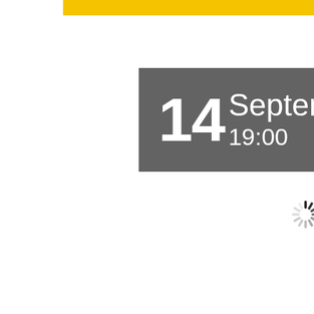[Figure (other): Yellow horizontal bar at the top of the page, partially visible]
14 September 19:00
[Figure (other): Loading spinner icon (circular dashed spinner) on white background]